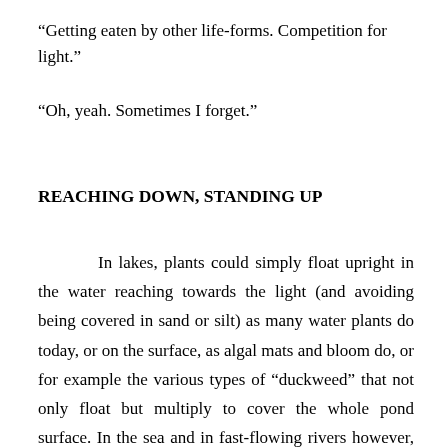“Getting eaten by other life-forms. Competition for light.”
“Oh, yeah. Sometimes I forget.”
REACHING DOWN, STANDING UP
In lakes, plants could simply float upright in the water reaching towards the light (and avoiding being covered in sand or silt) as many water plants do today, or on the surface, as algal mats and bloom do, or for example the various types of “duckweed” that not only float but multiply to cover the whole pond surface. In the sea and in fast-flowing rivers however, fixed plants needed to grasp surfaces and developed means of doing so; but these were not roots as such – more like anchors.